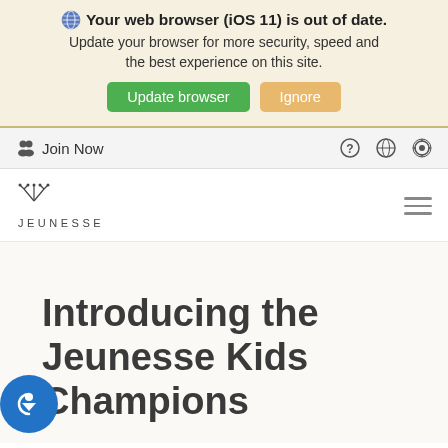Your web browser (iOS 11) is out of date. Update your browser for more security, speed and the best experience on this site. Update browser | Ignore
Join Now
[Figure (logo): Jeunesse logo with decorative crown/flower icon above the text JEUNESSE]
Introducing the Jeunesse Kids Champions